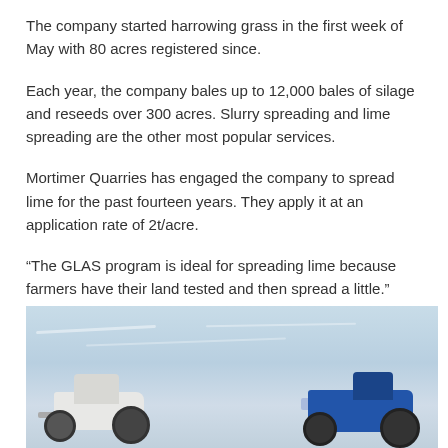The company started harrowing grass in the first week of May with 80 acres registered since.
Each year, the company bales up to 12,000 bales of silage and reseeds over 300 acres. Slurry spreading and lime spreading are the other most popular services.
Mortimer Quarries has engaged the company to spread lime for the past fourteen years. They apply it at an application rate of 2t/acre.
“The GLAS program is ideal for spreading lime because farmers have their land tested and then spread a little.”
[Figure (photo): Agricultural machinery (a white tractor and a blue spreader/tanker) parked in a field under a partly cloudy sky.]